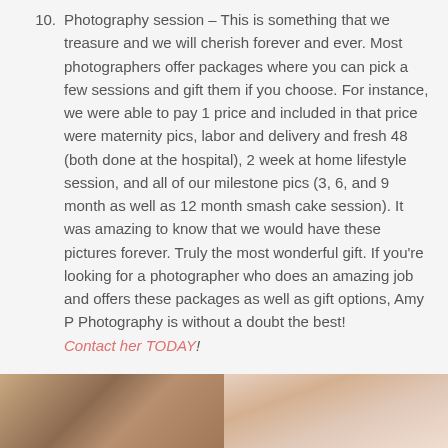10. Photography session – This is something that we treasure and we will cherish forever and ever. Most photographers offer packages where you can pick a few sessions and gift them if you choose. For instance, we were able to pay 1 price and included in that price were maternity pics, labor and delivery and fresh 48 (both done at the hospital), 2 week at home lifestyle session, and all of our milestone pics (3, 6, and 9 month as well as 12 month smash cake session). It was amazing to know that we would have these pictures forever. Truly the most wonderful gift. If you're looking for a photographer who does an amazing job and offers these packages as well as gift options, Amy P Photography is without a doubt the best! Contact her TODAY!
[Figure (photo): Two photos side by side at the bottom of the page: left photo shows a wooden surface/background in warm brown tones, right photo shows a baby with light skin and possibly a bow in light peach/skin tones]